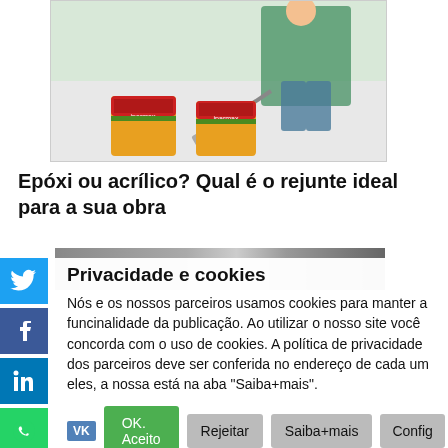[Figure (photo): Product photo showing two buckets of Iparmax grout products and a worker in green clothing applying grout/adhesive to a floor with a trowel]
Epóxi ou acrílico? Qual é o rejunte ideal para a sua obra
[Figure (screenshot): Cookie consent overlay with privacy notice in Portuguese, social media share icons (Twitter, Facebook, LinkedIn, WhatsApp, Telegram, VK, Email), and action buttons: OK. Aceito, Rejeitar, Saiba+mais, Config]
Privacidade e cookies
Nós e os nossos parceiros usamos cookies para manter a funcinalidade da publicação. Ao utilizar o nosso site você concorda com o uso de cookies. A política de privacidade dos parceiros deve ser conferida no endereço de cada um eles, a nossa está na aba "Saiba+mais".